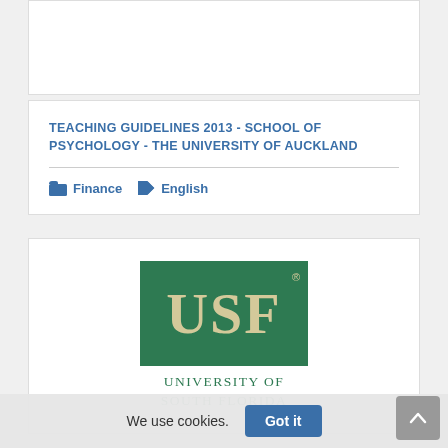[Figure (other): Partially visible white card at top of page, content not visible]
TEACHING GUIDELINES 2013 - SCHOOL OF PSYCHOLOGY - THE UNIVERSITY OF AUCKLAND
Finance  English
[Figure (logo): University of South Florida (USF) logo — green rectangle with large cream/tan USF letters, with 'UNIVERSITY OF SOUTH FLORIDA' text below in green]
We use cookies.